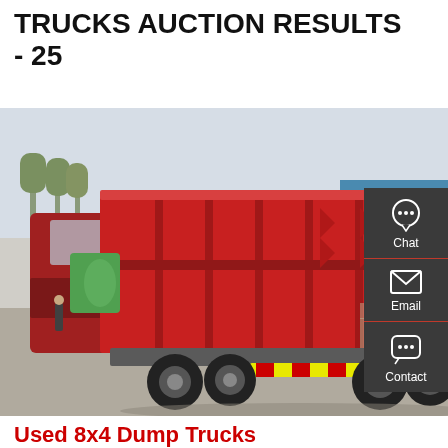TRUCKS AUCTION RESULTS - 25
[Figure (photo): Red dump truck (rear three-quarter view) in an outdoor yard, with a green concrete mixer and industrial buildings in the background. The truck has a large red metal dump bed with ribbed panels and chevron reflective markings on the rear bumper.]
Used 8x4 Dump Trucks